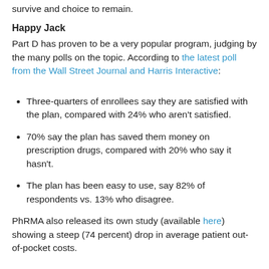survive and choice to remain.
Happy Jack
Part D has proven to be a very popular program, judging by the many polls on the topic. According to the latest poll from the Wall Street Journal and Harris Interactive:
Three-quarters of enrollees say they are satisfied with the plan, compared with 24% who aren't satisfied.
70% say the plan has saved them money on prescription drugs, compared with 20% who say it hasn't.
The plan has been easy to use, say 82% of respondents vs. 13% who disagree.
PhRMA also released its own study (available here) showing a steep (74 percent) drop in average patient out-of-pocket costs.